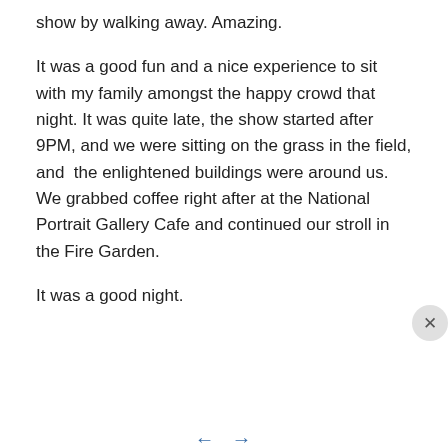show by walking away. Amazing.
It was a good fun and a nice experience to sit with my family amongst the happy crowd that night. It was quite late, the show started after 9PM, and we were sitting on the grass in the field, and  the enlightened buildings were around us. We grabbed coffee right after at the National Portrait Gallery Cafe and continued our stroll in the Fire Garden.
It was a good night.
Privacy & Cookies: This site uses cookies. By continuing to use this website, you agree to their use.
To find out more, including how to control cookies, see here: Cookie Policy